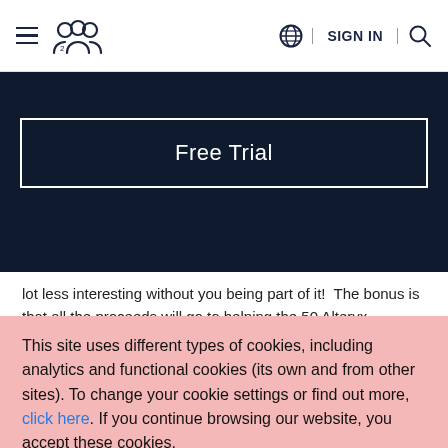≡  [users icon]  [globe] SIGN IN [search]
[Figure (screenshot): Dark navy banner background with a bordered 'Free Trial' button in white text on dark background]
lot less interesting without you being part of it!  The bonus is that all the proceeds will go to helping the 50 Alteryx associates based in Ukraine. Check out my video below for some more details and remember there's still time to register for Inspire 2022 if you haven't already and in
This site uses different types of cookies, including analytics and functional cookies (its own and from other sites). To change your cookie settings or find out more, click here. If you continue browsing our website, you accept these cookies.
I AGREE
LEARN MORE
Reject